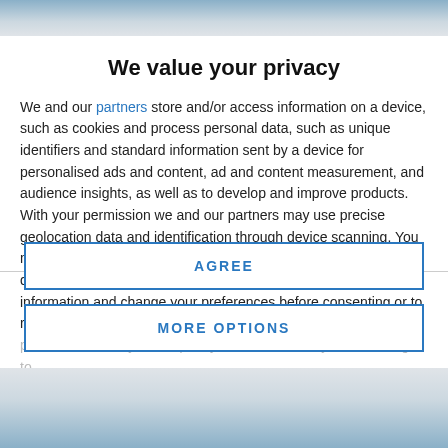[Figure (photo): Partial image strip visible at top of page, appears to be a photo of people]
We value your privacy
We and our partners store and/or access information on a device, such as cookies and process personal data, such as unique identifiers and standard information sent by a device for personalised ads and content, ad and content measurement, and audience insights, as well as to develop and improve products. With your permission we and our partners may use precise geolocation data and identification through device scanning. You may click to consent to our and our partners' processing as described above. Alternatively you may access more detailed information and change your preferences before consenting or to refuse consenting. Please note that some processing of your personal data may not require your consent, but you have a right to
AGREE
MORE OPTIONS
[Figure (photo): Partial image strip visible at bottom of page]